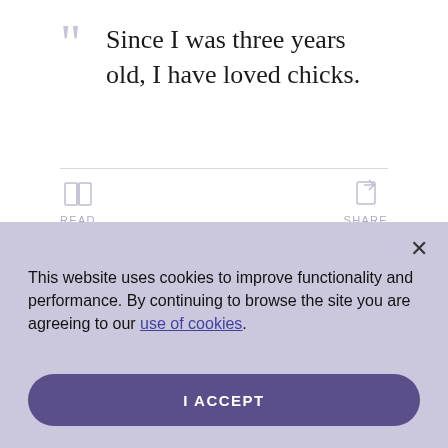“Since I was three years old, I have loved chicks.
[Figure (other): READ icon (open book) and SHARE icon (share arrow) below a horizontal divider]
This website uses cookies to improve functionality and performance. By continuing to browse the site you are agreeing to our use of cookies.
I ACCEPT